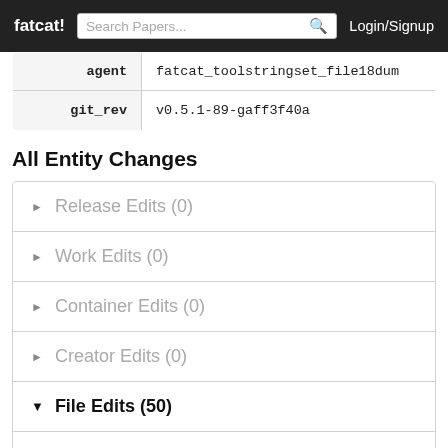fatcat!   Search Papers...   Login/Signup
| agent | git_rev |
| --- | --- |
| agent | fatcat_toolstringset_file18dum |
| git_rev | v0.5.1-89-gaff3f40a |
All Entity Changes
▶ Release Edits (0)
▶ Work Edits (0)
▶ Container Edits (0)
▶ Creator Edits (0)
▼ File Edits (50)
file_agidhgsmiregviyalt7ypvhaaq [view] [diff]
created